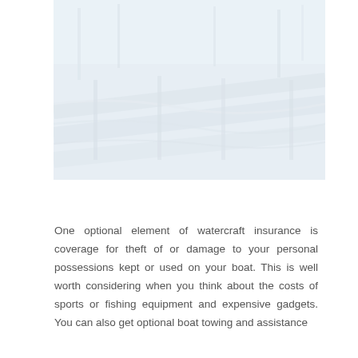[Figure (photo): A faded/washed-out photograph of boats moored at a marina dock, showing several boat hulls and dock rope railings, with masts visible in the background against a light sky.]
One optional element of watercraft insurance is coverage for theft of or damage to your personal possessions kept or used on your boat. This is well worth considering when you think about the costs of sports or fishing equipment and expensive gadgets. You can also get optional boat towing and assistance